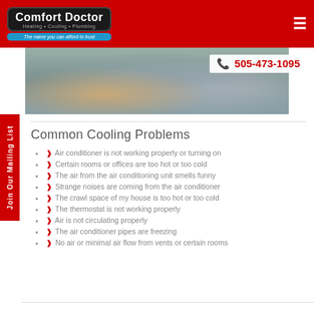Comfort Doctor - Heating • Cooling • Plumbing - The name you can afford to trust
[Figure (photo): Two people sitting on a couch looking at a tablet device, hero banner image]
505-473-1095
Join Our Mailing List
Common Cooling Problems
Air conditioner is not working properly or turning on
Certain rooms or offices are too hot or too cold
The air from the air conditioning unit smells funny
Strange noises are coming from the air conditioner
The crawl space of my house is too hot or too cold
The thermostat is not working properly
Air is not circulating properly
The air conditioner pipes are freezing
No air or minimal air flow from vents or certain rooms